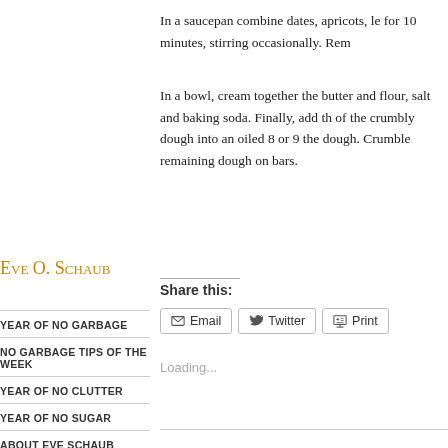In a saucepan combine dates, apricots, le for 10 minutes, stirring occasionally. Rem
In a bowl, cream together the butter and flour, salt and baking soda. Finally, add th of the crumbly dough into an oiled 8 or 9 the dough. Crumble remaining dough on bars.
Eve O. Schaub
YEAR OF NO GARBAGE
NO GARBAGE TIPS OF THE WEEK
YEAR OF NO CLUTTER
YEAR OF NO SUGAR
ABOUT EVE SCHAUB
Share this:
Loading...